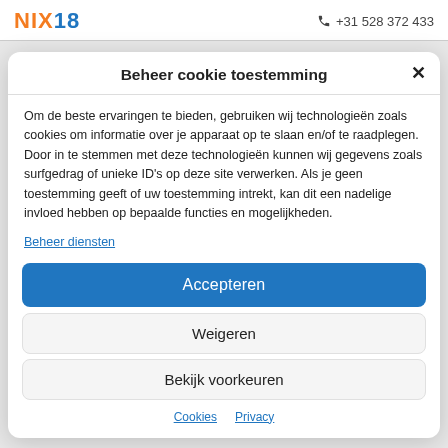NIX18   +31 528 372 433
Beheer cookie toestemming
Om de beste ervaringen te bieden, gebruiken wij technologieën zoals cookies om informatie over je apparaat op te slaan en/of te raadplegen. Door in te stemmen met deze technologieën kunnen wij gegevens zoals surfgedrag of unieke ID's op deze site verwerken. Als je geen toestemming geeft of uw toestemming intrekt, kan dit een nadelige invloed hebben op bepaalde functies en mogelijkheden.
Beheer diensten
Accepteren
Weigeren
Bekijk voorkeuren
Cookies  Privacy